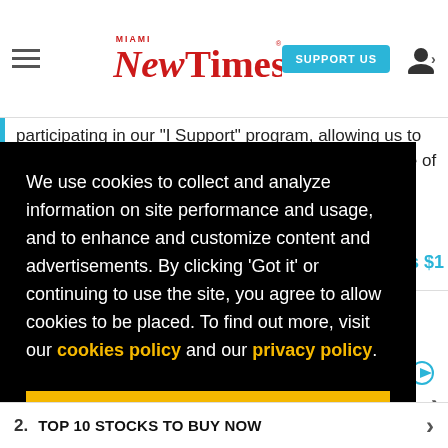Miami New Times — SUPPORT US
participating in our "I Support" program, allowing us to keep offering readers access to our incisive coverage of local news, food and culture with no
as $1
We use cookies to collect and analyze information on site performance and usage, and to enhance and customize content and advertisements. By clicking 'Got it' or continuing to use the site, you agree to allow cookies to be placed. To find out more, visit our cookies policy and our privacy policy.
Got it!
2.  TOP 10 STOCKS TO BUY NOW